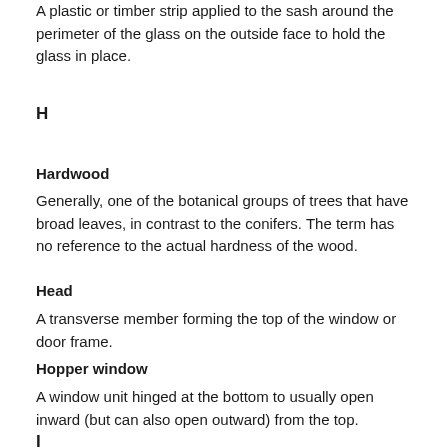A plastic or timber strip applied to the sash around the perimeter of the glass on the outside face to hold the glass in place.
H
Hardwood
Generally, one of the botanical groups of trees that have broad leaves, in contrast to the conifers. The term has no reference to the actual hardness of the wood.
Head
A transverse member forming the top of the window or door frame.
Hopper window
A window unit hinged at the bottom to usually open inward (but can also open outward) from the top.
I